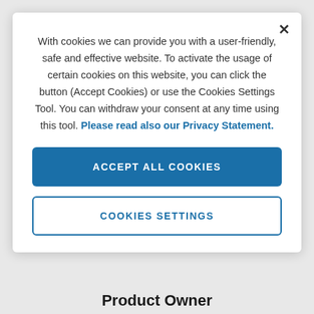With cookies we can provide you with a user-friendly, safe and effective website. To activate the usage of certain cookies on this website, you can click the button (Accept Cookies) or use the Cookies Settings Tool. You can withdraw your consent at any time using this tool. Please read also our Privacy Statement.
ACCEPT ALL COOKIES
COOKIES SETTINGS
Product Owner